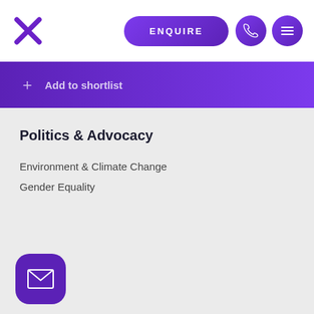[Figure (screenshot): Top navigation bar with purple X close icon, purple ENQUIRE pill button, purple phone circle, and purple menu circle]
Add to shortlist
Politics & Advocacy
Environment & Climate Change
Gender Equality
[Figure (logo): Purple rounded square email/envelope icon button at bottom left]